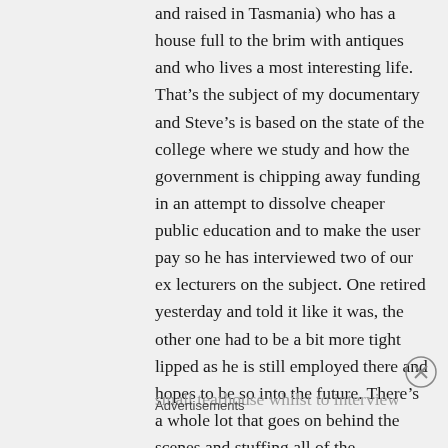and raised in Tasmania) who has a house full to the brim with antiques and who lives a most interesting life. That's the subject of my documentary and Steve's is based on the state of the college where we study and how the government is chipping away funding in an attempt to dissolve cheaper public education and to make the user pay so he has interviewed two of our ex lecturers on the subject. One retired yesterday and told it like it was, the other one had to be a bit more tight lipped as he is still employed there and hopes to be so into the future. There's a whole lot that goes on behind the scenes and stuffing all of the recording, lighting and camera action into a small tearhouse whilst to interview them
Advertisements